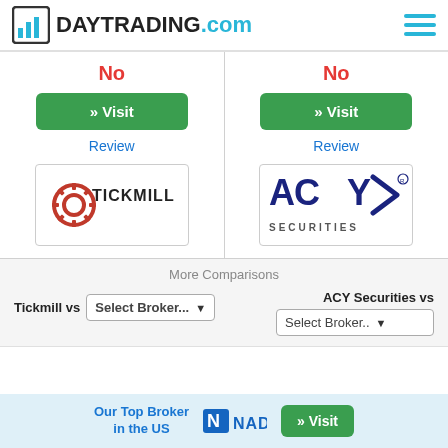DAYTRADING.com
No
No
» Visit
» Visit
Review
Review
[Figure (logo): Tickmill logo - red circular gear icon with TICKMILL text in dark]
[Figure (logo): ACY Securities logo - dark blue ACY lettering with arrow motif and SECURITIES text below]
More Comparisons
Tickmill vs Select Broker...
ACY Securities vs Select Broker...
Our Top Broker in the US
[Figure (logo): Nadex logo - N with blue square]
» Visit